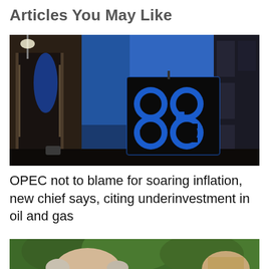Articles You May Like
[Figure (photo): Night-time photograph of OPEC headquarters building exterior showing the illuminated OPEC logo sign (blue glowing letters 'op ec' in a clover/four-leaf design) against a dark blue evening sky, with building facades visible on left and right.]
OPEC not to blame for soaring inflation, new chief says, citing underinvestment in oil and gas
[Figure (photo): Partial photograph showing the top of an elderly man's bald head with white hair on sides, against a background of green foliage trees, and another person partially visible on the right edge.]